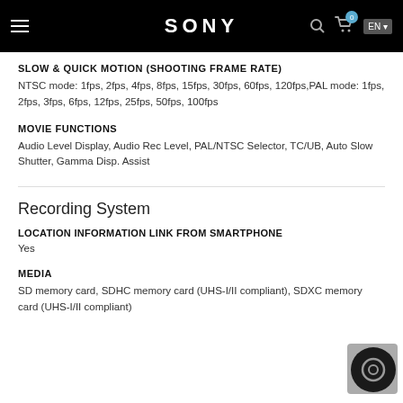SONY
SLOW & QUICK MOTION (SHOOTING FRAME RATE)
NTSC mode: 1fps, 2fps, 4fps, 8fps, 15fps, 30fps, 60fps, 120fps,PAL mode: 1fps, 2fps, 3fps, 6fps, 12fps, 25fps, 50fps, 100fps
MOVIE FUNCTIONS
Audio Level Display, Audio Rec Level, PAL/NTSC Selector, TC/UB, Auto Slow Shutter, Gamma Disp. Assist
Recording System
LOCATION INFORMATION LINK FROM SMARTPHONE
Yes
MEDIA
SD memory card, SDHC memory card (UHS-I/II compliant), SDXC memory card (UHS-I/II compliant)